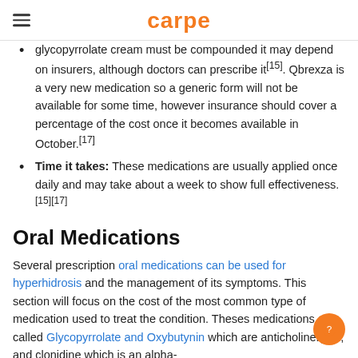carpe
glycopyrrolate cream must be compounded it may depend on insurers, although doctors can prescribe it[15]. Qbrexza is a very new medication so a generic form will not be available for some time, however insurance should cover a percentage of the cost once it becomes available in October.[17]
Time it takes: These medications are usually applied once daily and may take about a week to show full effectiveness.[15][17]
Oral Medications
Several prescription oral medications can be used for hyperhidrosis and the management of its symptoms. This section will focus on the cost of the most common type of medication used to treat the condition. Theses medications are called Glycopyrrolate and Oxybutynin which are anticholinergics, and clonidine which is an alpha-